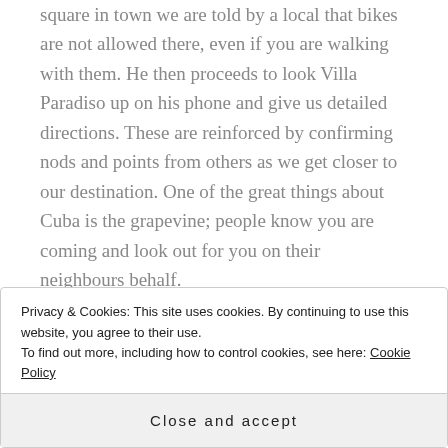square in town we are told by a local that bikes are not allowed there, even if you are walking with them. He then proceeds to look Villa Paradiso up on his phone and give us detailed directions. These are reinforced by confirming nods and points from others as we get closer to our destination. One of the great things about Cuba is the grapevine; people know you are coming and look out for you on their neighbours behalf.
A shout from a balcony tells us we have found our lovely Casa. Roberto is away, working in Canada, so Manuel greets us with his friend Yolande. We couldn't
Privacy & Cookies: This site uses cookies. By continuing to use this website, you agree to their use.
To find out more, including how to control cookies, see here: Cookie Policy
Close and accept